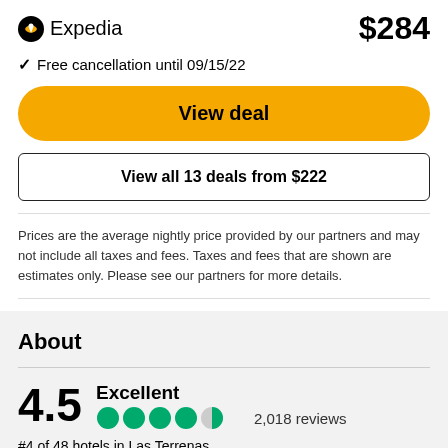[Figure (logo): Expedia logo with yellow airplane icon and text 'Expedia']
$284
✓ Free cancellation until 09/15/22
View deal
View all 13 deals from $222
Prices are the average nightly price provided by our partners and may not include all taxes and fees. Taxes and fees that are shown are estimates only. Please see our partners for more details.
About
4.5 Excellent 2,018 reviews
#4 of 48 hotels in Las Terrenas